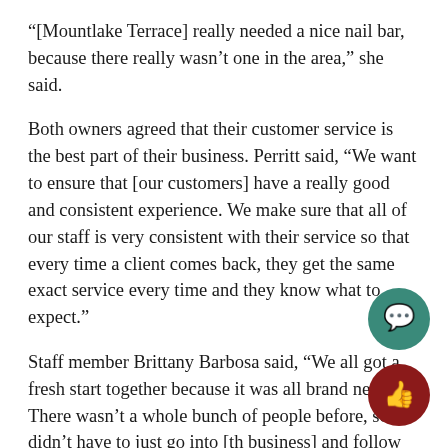“[Mountlake Terrace] really needed a nice nail bar, because there really wasn’t one in the area,” she said.
Both owners agreed that their customer service is the best part of their business. Perritt said, “We want to ensure that [our customers] have a really good and consistent experience. We make sure that all of our staff is very consistent with their service so that every time a client comes back, they get the same exact service every time and they know what to expect.”
Staff member Brittany Barbosa said, “We all got a fresh start together because it was all brand new. There wasn’t a whole bunch of people before, so I didn’t have to just go into [th business] and follow everyone else’s rules.”
“We’ve only been open for six weeks, so it’s been very rewarding to have a business, but I think it’ll be even m…